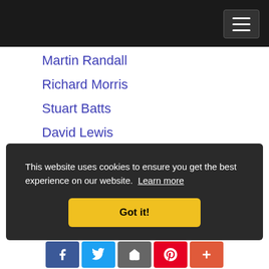Navigation bar with hamburger menu
Martin Randall
Richard Morris
Stuart Batts
David Lewis
Jon Springer
Andrew Thomas
Sathya Vadivale
George Williams
Matt Dipple
This website uses cookies to ensure you get the best experience on our website. Learn more
Got it!
Social share bar: Facebook, Twitter, Share, Pinterest, Plus